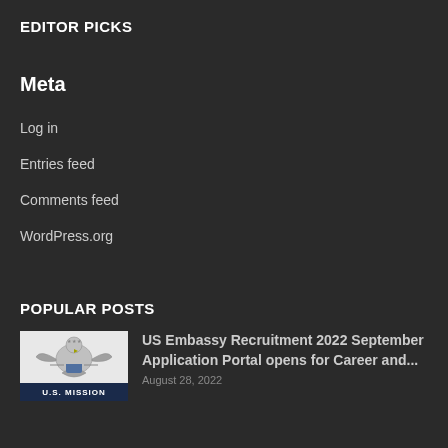EDITOR PICKS
Meta
Log in
Entries feed
Comments feed
WordPress.org
POPULAR POSTS
[Figure (photo): U.S. Mission eagle emblem logo with 'U.S. MISSION' text bar at bottom]
US Embassy Recruitment 2022 September Application Portal opens for Career and...
August 28, 2022